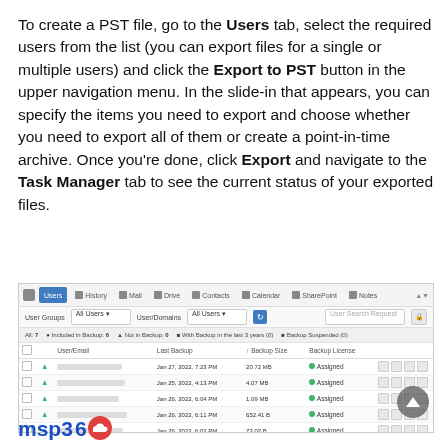To create a PST file, go to the Users tab, select the required users from the list (you can export files for a single or multiple users) and click the Export to PST button in the upper navigation menu. In the slide-in that appears, you can specify the items you need to export and choose whether you need to export all of them or create a point-in-time archive. Once you're done, click Export and navigate to the Task Manager tab to see the current status of your exported files.
[Figure (screenshot): Screenshot of MSP360 backup application showing the Users tab with a list of users, their last backup dates, backup sizes, and backup statuses (Assigned/Inactive). Navigation tabs include Users, History, Mail, Drive, Contacts, Calendar, SharePoint, and Notes.]